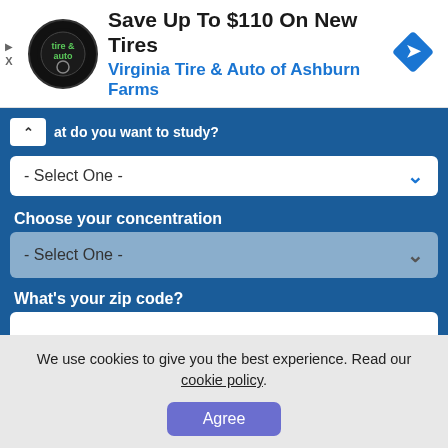[Figure (logo): Virginia Tire & Auto advertisement banner with circular logo, headline 'Save Up To $110 On New Tires', subtext 'Virginia Tire & Auto of Ashburn Farms', and a blue diamond navigation icon on the right]
at do you want to study?
- Select One -
Choose your concentration
- Select One -
What's your zip code?
NEXT
We use cookies to give you the best experience. Read our cookie policy.
Agree